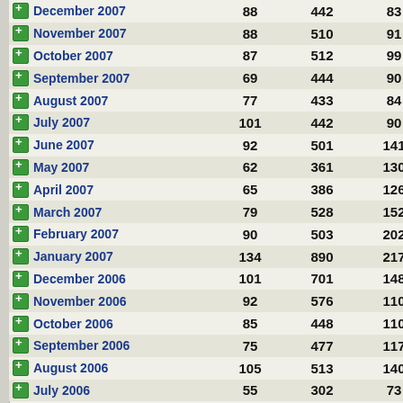| Month | Col1 | Col2 | Col3 |
| --- | --- | --- | --- |
| December 2007 | 88 | 442 | 83 |
| November 2007 | 88 | 510 | 91 |
| October 2007 | 87 | 512 | 99 |
| September 2007 | 69 | 444 | 90 |
| August 2007 | 77 | 433 | 84 |
| July 2007 | 101 | 442 | 90 |
| June 2007 | 92 | 501 | 141 |
| May 2007 | 62 | 361 | 130 |
| April 2007 | 65 | 386 | 126 |
| March 2007 | 79 | 528 | 152 |
| February 2007 | 90 | 503 | 202 |
| January 2007 | 134 | 890 | 217 |
| December 2006 | 101 | 701 | 148 |
| November 2006 | 92 | 576 | 110 |
| October 2006 | 85 | 448 | 110 |
| September 2006 | 75 | 477 | 117 |
| August 2006 | 105 | 513 | 140 |
| July 2006 | 55 | 302 | 73 |